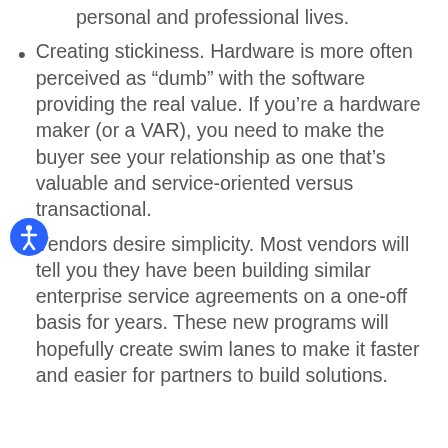personal and professional lives.
Creating stickiness. Hardware is more often perceived as “dumb” with the software providing the real value. If you’re a hardware maker (or a VAR), you need to make the buyer see your relationship as one that’s valuable and service-oriented versus transactional.
Vendors desire simplicity. Most vendors will tell you they have been building similar enterprise service agreements on a one-off basis for years. These new programs will hopefully create swim lanes to make it faster and easier for partners to build solutions.